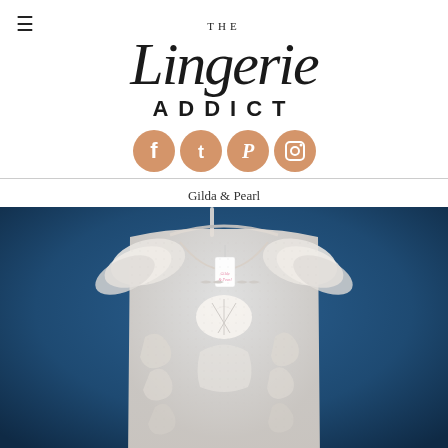THE Lingerie ADDICT
[Figure (logo): The Lingerie Addict logo with script font and social media icons (Facebook, Twitter, Pinterest, Instagram)]
Gilda & Pearl
[Figure (photo): Close-up photo of a white lace lingerie top/camisole with ruffled shoulders, floral appliqué details, and a tag, displayed on a hanger against a dark blue background]